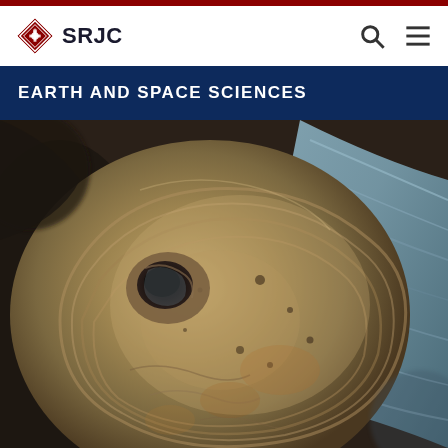SRJC
EARTH AND SPACE SCIENCES
[Figure (photo): Close-up photograph of a layered sedimentary or metamorphic rock specimen with a circular cavity/hole, showing tan, beige, brown, and blue-grey mineral layering and texture]